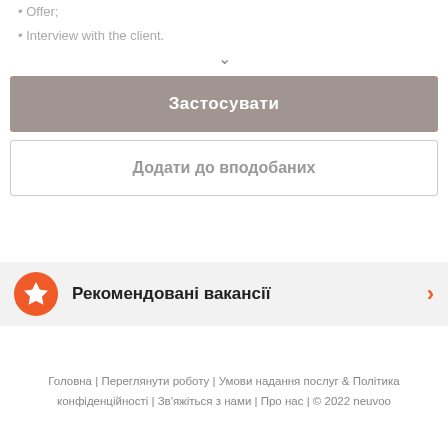• Offer;
• Interview with the client.
Застосувати
Додати до вподобаних
Рекомендовані вакансії
Головна | Переглянути роботу | Умови надання послуг & Політика конфіденційності | Зв'яжіться з нами | Про нас | © 2022 neuvoo